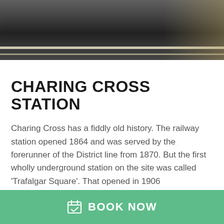[Figure (photo): Photo of a train platform with a dark train and platform edge visible]
CHARING CROSS STATION
Charing Cross has a fiddly old history. The railway station opened 1864 and was served by the forerunner of the District line from 1870. But the first wholly underground station on the site was called ‘Trafalgar Square’. That opened in 1906
BOOK NOW